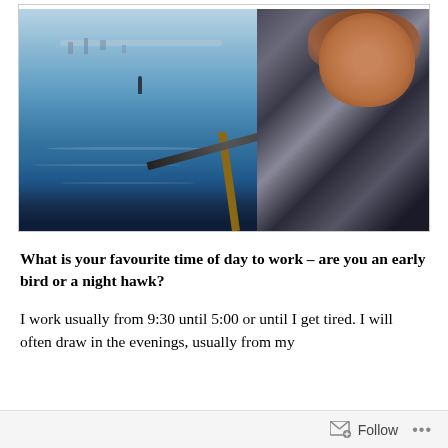[Figure (photo): A woman artist painting a seascape (ocean scene with a figure standing on water and a cityscape in the background) on a canvas on an easel. She is smiling, wearing a patterned sweater, and holding a paintbrush. Other paintings are visible in the background on the left.]
What is your favourite time of day to work – are you an early bird or a night hawk?
I work usually from 9:30 until 5:00 or until I get tired. I will often draw in the evenings, usually from my